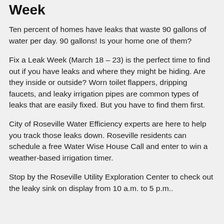Week
Ten percent of homes have leaks that waste 90 gallons of water per day. 90 gallons! Is your home one of them?
Fix a Leak Week (March 18 – 23) is the perfect time to find out if you have leaks and where they might be hiding. Are they inside or outside? Worn toilet flappers, dripping faucets, and leaky irrigation pipes are common types of leaks that are easily fixed. But you have to find them first.
City of Roseville Water Efficiency experts are here to help you track those leaks down. Roseville residents can schedule a free Water Wise House Call and enter to win a weather-based irrigation timer.
Stop by the Roseville Utility Exploration Center to check out the leaky sink on display from 10 a.m. to 5 p.m..